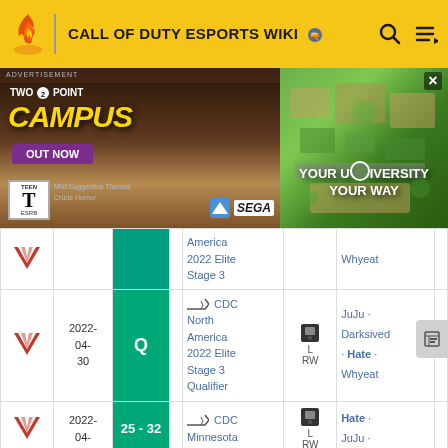CALL OF DUTY ESPORTS WIKI
[Figure (screenshot): Two Point Campus advertisement banner - 'OUT NOW' with game art, ESRB Teen rating, Mild Suggestive Themes/Crude Humor, SEGA publisher logo, and aerial campus view with text 'YOUR UNIVERSITY YOUR WAY']
| Team | Date | Score |  | Tournament | Map | Players |  |
| --- | --- | --- | --- | --- | --- | --- | --- |
| [V logo] |  |  |  | America 2022 Elite Stage 3 |  | Whyeat |  |
| [V logo] | 2022-04-30 | Q |  | CDC North America 2022 Elite Stage 3 Qualifier | L RW | JuJu · Darksived · Hate · Whyeat |  |
| [V logo] | 2022-04-17 | 25 - 32 |  | CDC Minnesota | L RW | Hate · JuJu · |  |